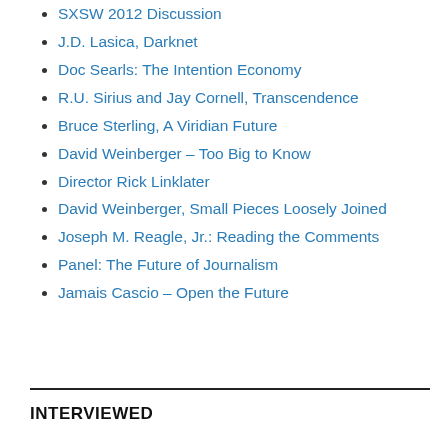SXSW 2012 Discussion
J.D. Lasica, Darknet
Doc Searls: The Intention Economy
R.U. Sirius and Jay Cornell, Transcendence
Bruce Sterling, A Viridian Future
David Weinberger – Too Big to Know
Director Rick Linklater
David Weinberger, Small Pieces Loosely Joined
Joseph M. Reagle, Jr.: Reading the Comments
Panel: The Future of Journalism
Jamais Cascio – Open the Future
INTERVIEWED